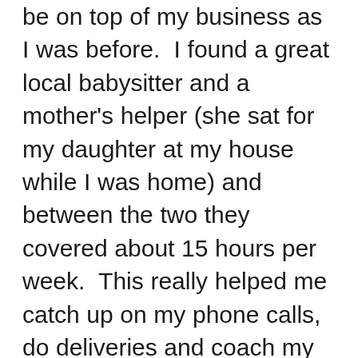be on top of my business as I was before.  I found a great local babysitter and a mother's helper (she sat for my daughter at my house while I was home) and between the two they covered about 15 hours per week.  This really helped me catch up on my phone calls, do deliveries and coach my team without being distracted.  I also started having some customers pick up their orders instead of having to personally deliver them and I held